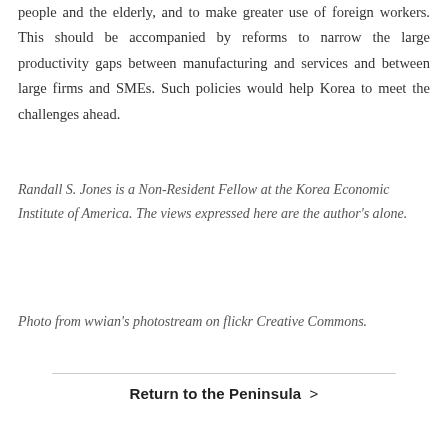people and the elderly, and to make greater use of foreign workers. This should be accompanied by reforms to narrow the large productivity gaps between manufacturing and services and between large firms and SMEs. Such policies would help Korea to meet the challenges ahead.
Randall S. Jones is a Non-Resident Fellow at the Korea Economic Institute of America. The views expressed here are the author's alone.
Photo from wwian's photostream on flickr Creative Commons.
Return to the Peninsula >